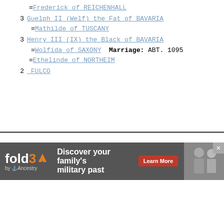=Frederick of REICHENHALL
3 Guelph II (Welf) the Fat of BAVARIA =Mathilde of TUSCANY
3 Henry III (IX) the Black of BAVARIA =Wolfida of SAXONY  Marriage: ABT. 1095 =Ethelinde of NORTHEIM
2 _FULCO
Go To List Of Surnames
For further information email: dhaner@citylinq.com
[Figure (infographic): fold3 by Ancestry advertisement banner: 'Discover your family's military past' with Learn More button and photo of soldiers]